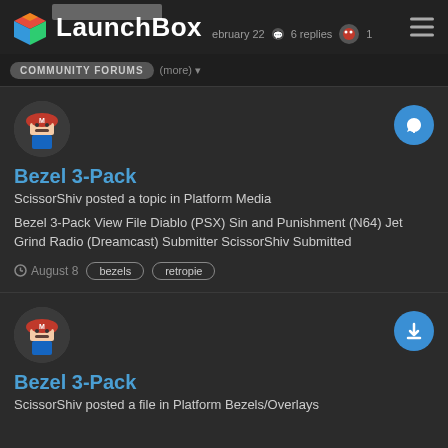LaunchBox Community Forums
February 22 · 6 replies · 1
COMMUNITY FORUMS (more)
Bezel 3-Pack
ScissorShiv posted a topic in Platform Media
Bezel 3-Pack View File Diablo (PSX) Sin and Punishment (N64) Jet Grind Radio (Dreamcast) Submitter ScissorShiv Submitted
August 8   bezels   retropie
Bezel 3-Pack
ScissorShiv posted a file in Platform Bezels/Overlays